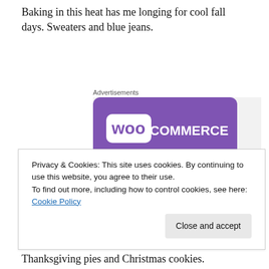Baking in this heat has me longing for cool fall days. Sweaters and blue jeans.
[Figure (screenshot): WooCommerce advertisement banner showing 'How to start selling subscriptions online' with purple WooCommerce logo, teal triangle decoration, and light blue quarter-circle decoration]
Privacy & Cookies: This site uses cookies. By continuing to use this website, you agree to their use.
To find out more, including how to control cookies, see here: Cookie Policy
Thanksgiving pies and Christmas cookies.